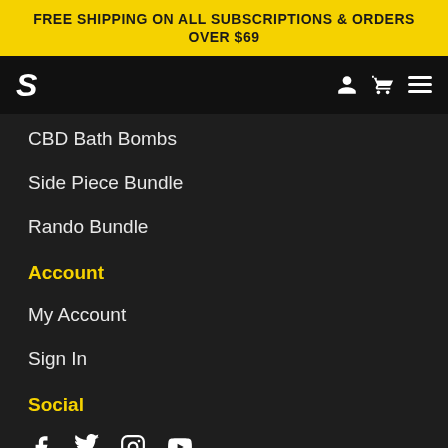FREE SHIPPING ON ALL SUBSCRIPTIONS & ORDERS OVER $69
[Figure (logo): Website logo S (stylized) with navigation icons (user, cart, hamburger menu)]
CBD Bath Bombs
Side Piece Bundle
Rando Bundle
Account
My Account
Sign In
Social
[Figure (other): Social media icons: Facebook, Twitter, Instagram, YouTube]